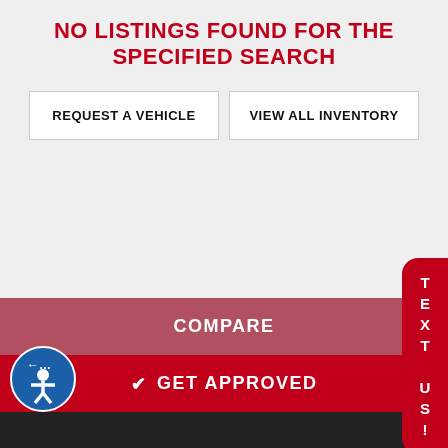NO LISTINGS FOUND FOR THE SPECIFIED SEARCH
REQUEST A VEHICLE
VIEW ALL INVENTORY
COMPARE
✔ GET APPROVED
💬 READ REVIEWS